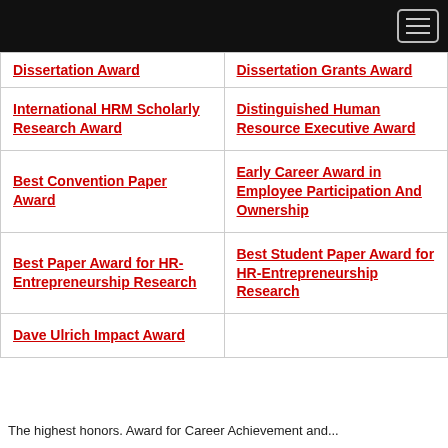| Dissertation Award | Dissertation Grants Award |
| International HRM Scholarly Research Award | Distinguished Human Resource Executive Award |
| Best Convention Paper Award | Early Career Award in Employee Participation And Ownership |
| Best Paper Award for HR-Entrepreneurship Research | Best Student Paper Award for HR-Entrepreneurship Research |
| Dave Ulrich Impact Award |  |
The highest honors. Award for Career Achievement and...